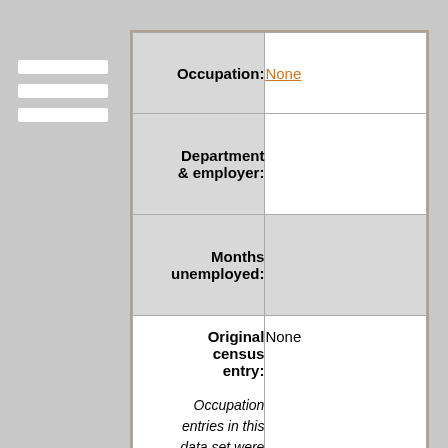| Field | Value |
| --- | --- |
| Occupation: | None |
| Department & employer: |  |
| Months unemployed: |  |
| Original census entry: | None |
| Occupation entries in this data set were standardized and translated to conform to Department of Labor categories |  |